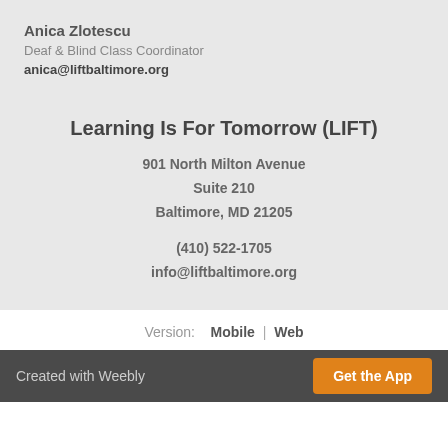Anica Zlotescu
Deaf & Blind Class Coordinator
anica@liftbaltimore.org
Learning Is For Tomorrow (LIFT)
901 North Milton Avenue
Suite 210
Baltimore, MD 21205
(410) 522-1705
info@liftbaltimore.org
Version:  Mobile  |  Web
Created with Weebly  Get the App